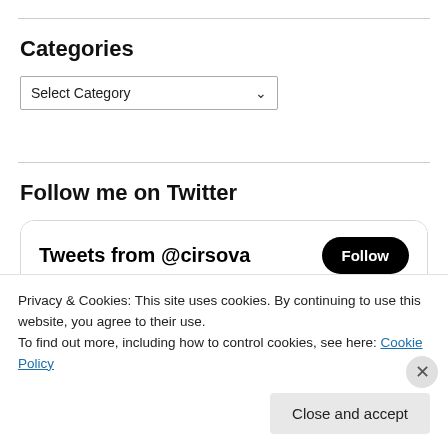Categories
Select Category
Follow me on Twitter
[Figure (screenshot): Twitter widget showing 'Tweets from @cirsova' with a Follow button and a tweet row from 'Cirsova: Fall 2022 Issue ...' @cir... 2h with Twitter bird icon]
Privacy & Cookies: This site uses cookies. By continuing to use this website, you agree to their use.
To find out more, including how to control cookies, see here: Cookie Policy
Close and accept